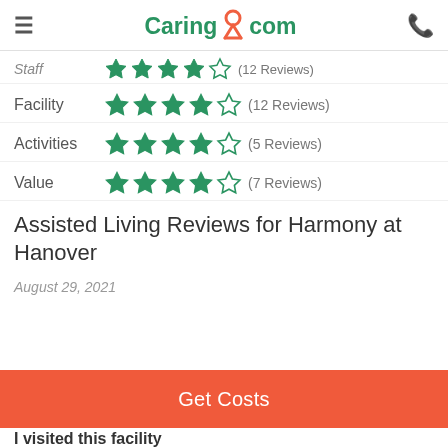Caring.com
Staff ★★★★☆ (12 Reviews)
Facility ★★★★☆ (12 Reviews)
Activities ★★★★☆ (5 Reviews)
Value ★★★★☆ (7 Reviews)
Assisted Living Reviews for Harmony at Hanover
August 29, 2021
Get Costs
I visited this facility